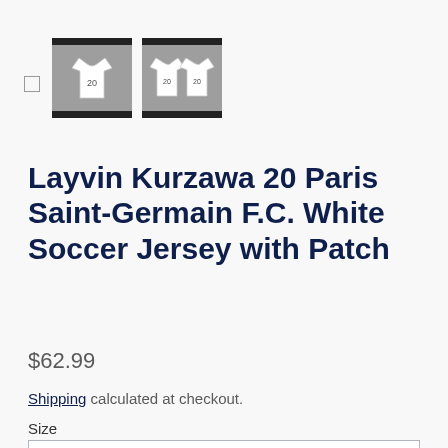[Figure (photo): Two product thumbnail images of a white soccer jersey with the number 20, displayed on a gray background. A small empty checkbox square appears to the left.]
Layvin Kurzawa 20 Paris Saint-Germain F.C. White Soccer Jersey with Patch
$62.99
Shipping calculated at checkout.
Size
XS 30"-32" Chest Measurement (76-81 cm)